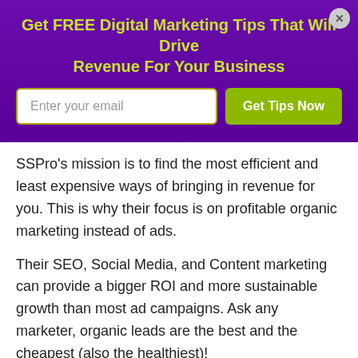Get FREE Digital Marketing Tips That Will Drive Revenue For Your Business
SSPro's mission is to find the most efficient and least expensive ways of bringing in revenue for you. This is why their focus is on profitable organic marketing instead of ads.
Their SEO, Social Media, and Content marketing can provide a bigger ROI and more sustainable growth than most ad campaigns. Ask any marketer, organic leads are the best and the cheapest (also the healthiest)!
Details: 100 Dey Pl, Edison, NJ 08817 phone (732) 930-0052.